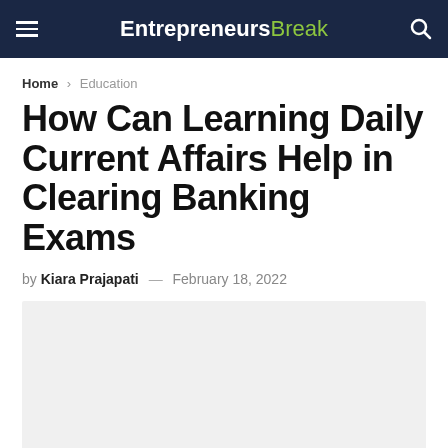EntrepreneursBreak
Home > Education
How Can Learning Daily Current Affairs Help in Clearing Banking Exams
by Kiara Prajapati — February 18, 2022
[Figure (photo): Light gray placeholder image area below the article byline]